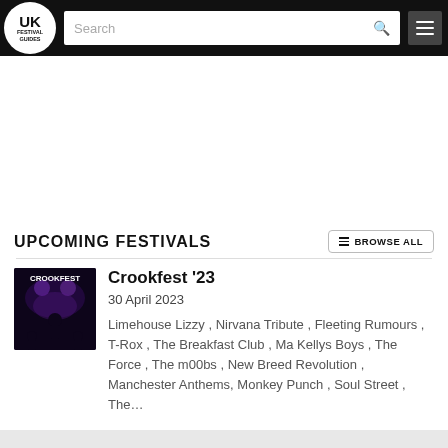UK Festival Guides
UPCOMING FESTIVALS
[Figure (screenshot): Crookfest '23 festival poster thumbnail — dark background with purple lighting and silhouettes]
Crookfest '23
30 April 2023
Limehouse Lizzy , Nirvana Tribute , Fleeting Rumours , T-Rox , The Breakfast Club , Ma Kellys Boys , The Force , The m00bs , New Breed Revolution , Manchester Anthems, Monkey Punch , Soul Street , The...